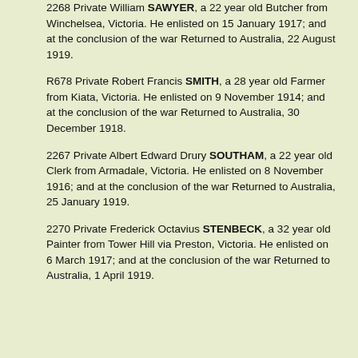2268 Private William SAWYER, a 22 year old Butcher from Winchelsea, Victoria. He enlisted on 15 January 1917; and at the conclusion of the war Returned to Australia, 22 August 1919.
R678 Private Robert Francis SMITH, a 28 year old Farmer from Kiata, Victoria. He enlisted on 9 November 1914; and at the conclusion of the war Returned to Australia, 30 December 1918.
2267 Private Albert Edward Drury SOUTHAM, a 22 year old Clerk from Armadale, Victoria. He enlisted on 8 November 1916; and at the conclusion of the war Returned to Australia, 25 January 1919.
2270 Private Frederick Octavius STENBECK, a 32 year old Painter from Tower Hill via Preston, Victoria. He enlisted on 6 March 1917; and at the conclusion of the war Returned to Australia, 1 April 1919.